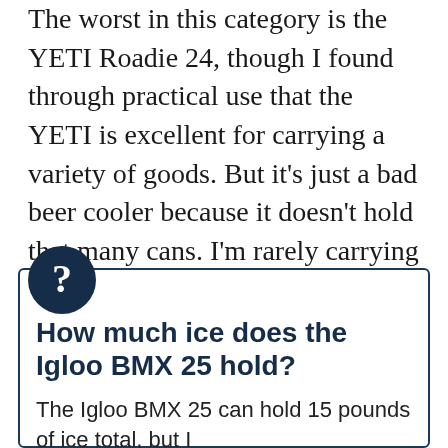The worst in this category is the YETI Roadie 24, though I found through practical use that the YETI is excellent for carrying a variety of goods. But it's just a bad beer cooler because it doesn't hold that many cans. I'm rarely carrying just beer, and the YETI is often much more useful for picnics than the above graph suggests.
How much ice does the Igloo BMX 25 hold?
The Igloo BMX 25 can hold 15 pounds of ice total, but I